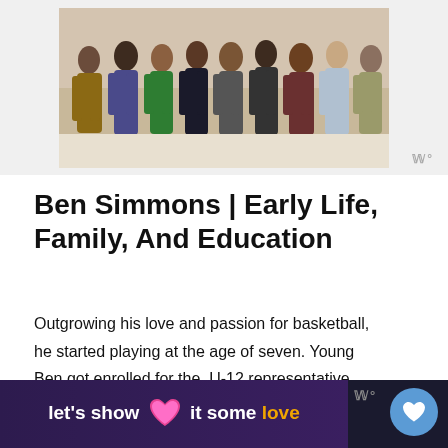[Figure (photo): Group of people standing with arms around each other, seen from behind]
Ben Simmons | Early Life, Family, And Education
Outgrowing his love and passion for basketball, he started playing at the age of seven. Young Ben got enrolled for the  U-12 representative team for the Newcastle Hunters.
[Figure (other): Advertisement banner: 'let's show it some love' with heart icon on dark purple background]